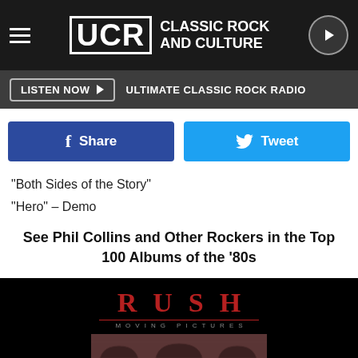UCR CLASSIC ROCK AND CULTURE
LISTEN NOW ▶ ULTIMATE CLASSIC ROCK RADIO
Share  Tweet
"Both Sides of the Story"
"Hero" – Demo
See Phil Collins and Other Rockers in the Top 100 Albums of the '80s
[Figure (photo): Rush - Moving Pictures album cover showing stone arches on black background]